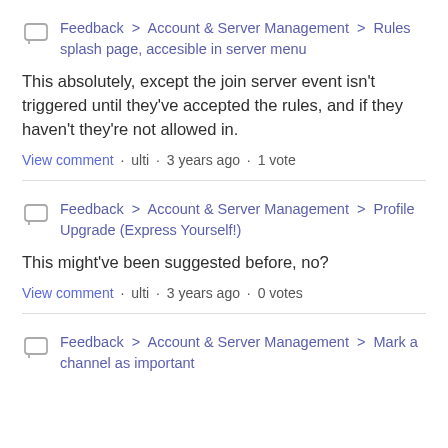Feedback > Account & Server Management > Rules splash page, accesible in server menu
This absolutely, except the join server event isn't triggered until they've accepted the rules, and if they haven't they're not allowed in.
View comment · ulti · 3 years ago · 1 vote
Feedback > Account & Server Management > Profile Upgrade (Express Yourself!)
This might've been suggested before, no?
View comment · ulti · 3 years ago · 0 votes
Feedback > Account & Server Management > Mark a channel as important